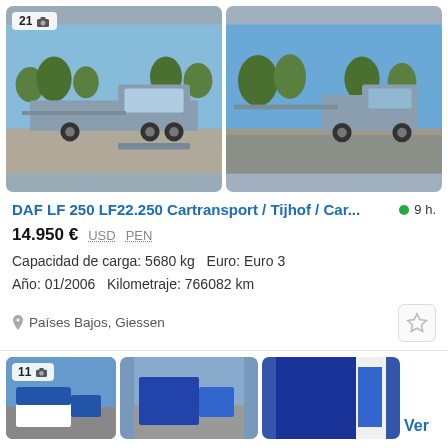[Figure (photo): Two photos of a silver DAF LF 250 car transporter truck. Left image shows front-side view with photo count badge '21'. Right image shows rear-side view of the same truck.]
DAF LF 250 LF22.250 Cartransport / Tijhof / Car...
9 h.
14.950 € USD PEN
Capacidad de carga: 5680 kg   Euro: Euro 3
Año: 01/2006   Kilometraje: 766082 km
Países Bajos, Giessen
[Figure (photo): Three partial photos of a white and blue truck/van from a second listing, showing different angles. Photo count badge '11' visible on first image. 'Ver' link partially visible on right edge.]